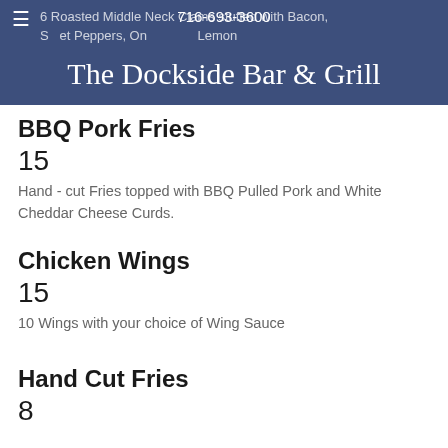6 Roasted Middle Neck Clams stuffed with Bacon, Sweet Peppers, Onions served with Lemon
716-693-3600
The Dockside Bar & Grill
BBQ Pork Fries
15
Hand - cut Fries topped with BBQ Pulled Pork and White Cheddar Cheese Curds.
Chicken Wings
15
10 Wings with your choice of Wing Sauce
Hand Cut Fries
8